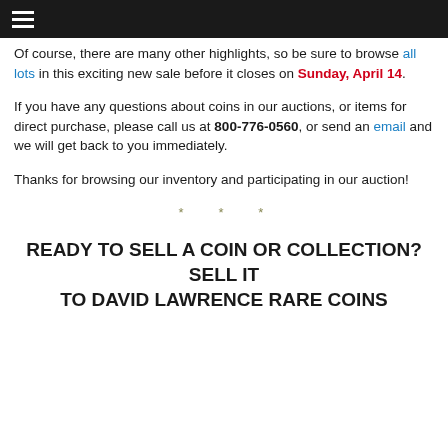☰
Of course, there are many other highlights, so be sure to browse all lots in this exciting new sale before it closes on Sunday, April 14.
If you have any questions about coins in our auctions, or items for direct purchase, please call us at 800-776-0560, or send an email and we will get back to you immediately.
Thanks for browsing our inventory and participating in our auction!
* * *
READY TO SELL A COIN OR COLLECTION? SELL IT TO DAVID LAWRENCE RARE COINS